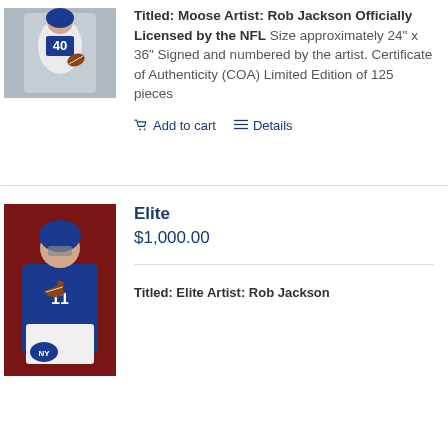[Figure (photo): Photo of a football player wearing a white jersey with number 40, holding a football, partial image cropped]
Titled: Moose Artist: Rob Jackson Officially Licensed by the NFL Size approximately 24" x 36" Signed and numbered by the artist. Certificate of Authenticity (COA) Limited Edition of 125 pieces
Add to cart   Details
[Figure (photo): Photo of a football player in blue NY Giants uniform, holding a football, posed against a red/dark background]
Elite
$1,000.00
Titled: Elite Artist: Rob Jackson